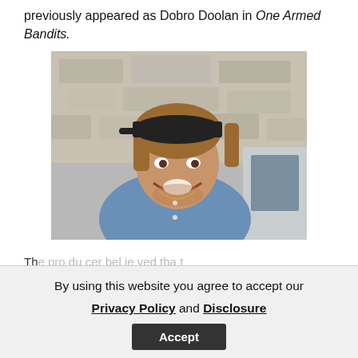previously appeared as Dobro Doolan in One Armed Bandits.
[Figure (photo): A smiling man with curly brown hair wearing a black cap and open blue denim shirt, standing in front of a stone wall and a vehicle window.]
Th...
By using this website you agree to accept our Privacy Policy and Disclosure
Accept